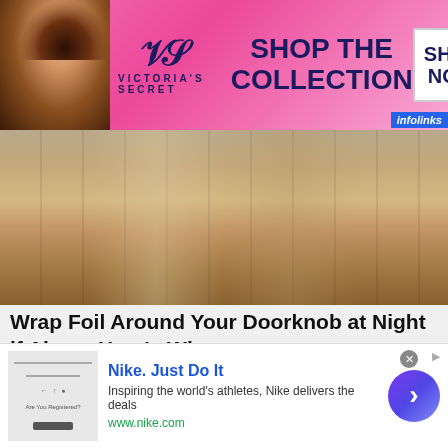[Figure (photo): Victoria's Secret advertisement banner with pink background, woman model on left, VS logo and 'SHOP THE COLLECTION' text center, 'SHOP NOW' white box on right]
[Figure (photo): Close-up photo of a golden/bronze doorknob or door hardware with vertical wood grain texture]
Wrap Foil Around Your Doorknob at Night if Alone, Here's Why
Sogoodly
[Figure (photo): Portrait photo of an elderly man with grey and brown hair, deep-set eyes, wrinkled forehead, looking serious, dark background]
[Figure (other): Nike advertisement: 'Nike. Just Do It' - Inspiring the world's athletes, Nike delivers the deals - www.nike.com - with thumbnail image and arrow button]